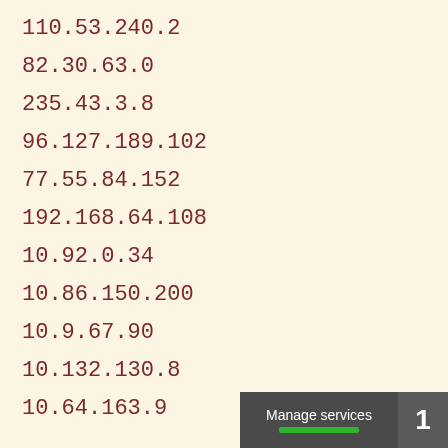110.53.240.2
82.30.63.0
235.43.3.8
96.127.189.102
77.55.84.152
192.168.64.108
10.92.0.34
10.86.150.200
10.9.67.90
10.132.130.8
10.64.163.9
[Figure (infographic): Footer UI element with 'Manage services' label, green progress bar, and number '1' on dark background]